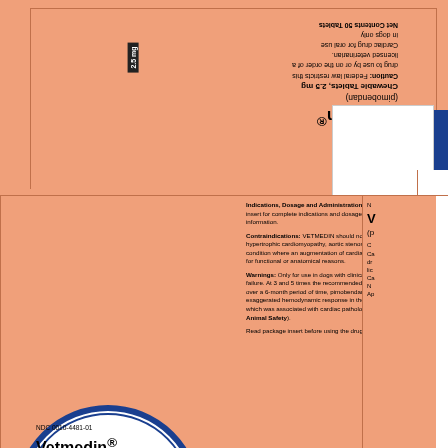[Figure (other): Vetmedin (pimobendan) 2.5mg chewable tablets pharmaceutical packaging box label showing front panel, side panel, and top flap. Orange background with blue accents. NDC 0010-4481-01. Contains circle label with product information, indications, contraindications, warnings text, barcode, and Boehringer Ingelheim logo.]
2.5 mg
Vetmedin® (pimobendan) Chewable Tablets, 2.5 mg Caution: Federal law restricts this drug to use by or on the order of a licensed veterinarian. Cardiac drug for oral use in dogs only Net Contents: 50 Tablets
NDC 0010-4481-01 Vetmedin® (pimobendan) Chewable Tablets, 2.5 mg Caution: Federal law restricts this drug to use by or on the order of a licensed veterinarian. Cardiac drug for oral use in dogs only Net Contents: 50 Tablets Approved by FDA under NADA # 141-273
Indications, Dosage and Administration: Refer to package insert for complete indications and dosage and administration information.
Contraindications: VETMEDIN should not be given in cases of hypertrophic cardiomyopathy, aortic stenosis, or any other clinical condition where an augmentation of cardiac output is inappropriate for functional or anatomical reasons.
Warnings: Only for use in dogs with clinical evidence of heart failure. At 3 and 5 times the recommended dosage, administered over a 6-month period of time, pimobendan caused an exaggerated hemodynamic response in the normal dog heart, which was associated with cardiac pathology (See package insert: Animal Safety).
Read package insert before using the drug.
2.5 mg
Boehringer Ingelheim